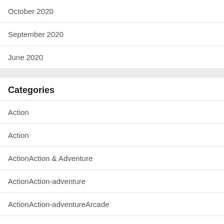October 2020
September 2020
June 2020
Categories
Action
Action
ActionAction & Adventure
ActionAction-adventure
ActionAction-adventureArcade
ActionAction-adventureCasual
ActionAction-adventureSurvival
ActionAction-adventureSurvival horror
ActionAction-adventureSurvival horror Comedy